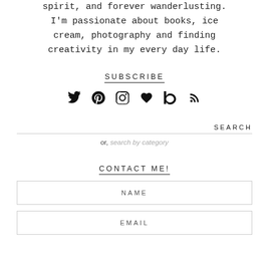I'm passionate about books, ice cream, photography and finding creativity in my every day life.
SUBSCRIBE
[Figure (other): Social media icons: Twitter, Pinterest, Instagram, heart/Bloglovin, Goodreads, RSS feed]
SEARCH
or, search by category
CONTACT ME!
NAME
EMAIL